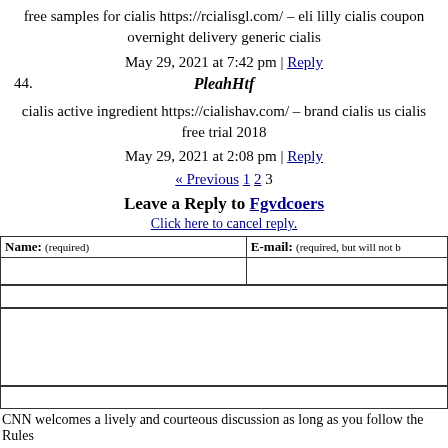free samples for cialis https://rcialisgl.com/ – eli lilly cialis coupon overnight delivery generic cialis
May 29, 2021 at 7:42 pm | Reply
44. PleahHtf
cialis active ingredient https://cialishav.com/ – brand cialis us cialis free trial 2018
May 29, 2021 at 2:08 pm | Reply
« Previous 1 2 3
Leave a Reply to Fgvdcoers
Click here to cancel reply.
| Name: (required) | E-mail: (required, but will not be published) |
| --- | --- |
|  |  |
CNN welcomes a lively and courteous discussion as long as you follow the Rules